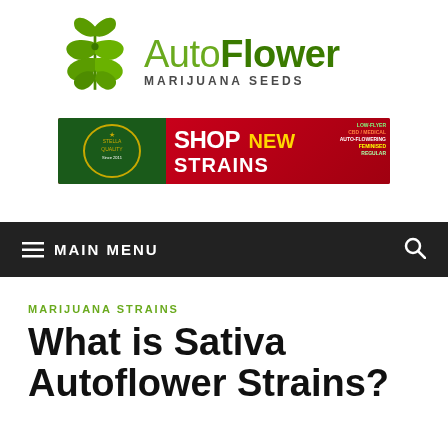[Figure (logo): AutoFlower Marijuana Seeds logo with green cannabis leaf icon and text]
[Figure (infographic): Banner advertisement: SHOP NEW STRAINS with cannabis plants, categories: Regular, Auto-Flowering, Feminised, Low-Flyer, CBD/Medical]
≡  MAIN MENU
MARIJUANA STRAINS
What is Sativa Autoflower Strains?